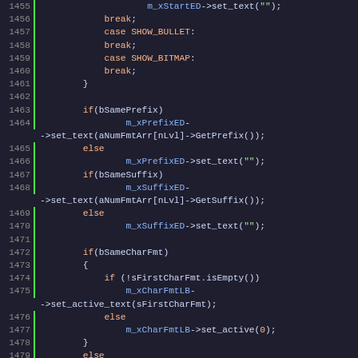[Figure (screenshot): Source code editor showing C++ code lines 1455–1486 with syntax highlighting. Line numbers on left with green vertical bar. Keywords in orange, method calls in blue, punctuation in white, on dark background.]